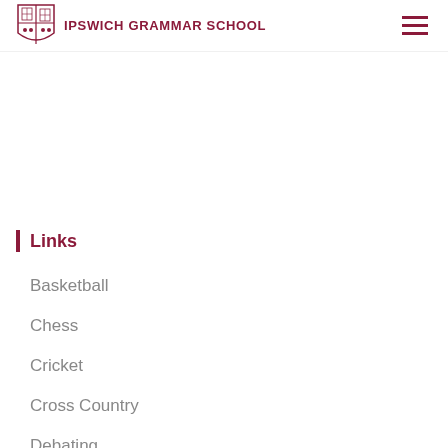IPSWICH GRAMMAR SCHOOL
Links
Basketball
Chess
Cricket
Cross Country
Debating